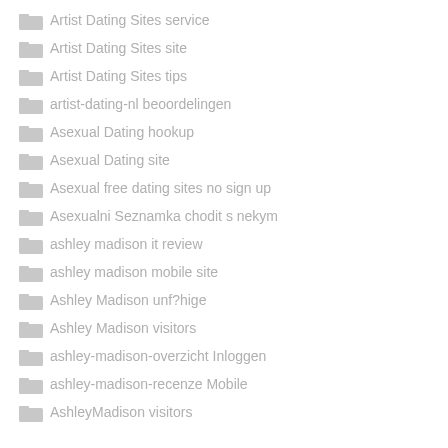Artist Dating Sites service
Artist Dating Sites site
Artist Dating Sites tips
artist-dating-nl beoordelingen
Asexual Dating hookup
Asexual Dating site
Asexual free dating sites no sign up
Asexualni Seznamka chodit s nekym
ashley madison it review
ashley madison mobile site
Ashley Madison unf?hige
Ashley Madison visitors
ashley-madison-overzicht Inloggen
ashley-madison-recenze Mobile
AshleyMadison visitors